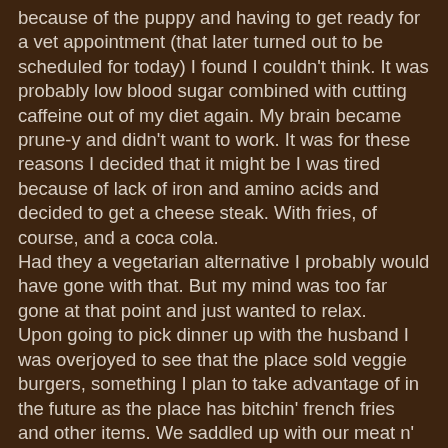because of the puppy and having to get ready for a vet appointment (that later turned out to be scheduled for today) I found I couldn't think. It was probably low blood sugar combined with cutting caffeine out of my diet again. My brain became prune-y and didn't want to work. It was for these reasons I decided that it might be I was tired because of lack of iron and amino acids and decided to get a cheese steak. With fries, of course, and a coca cola. Had they a vegetarian alternative I probably would have gone with that. But my mind was too far gone at that point and just wanted to relax. Upon going to pick dinner up with the husband I was overjoyed to see that the place sold veggie burgers, something I plan to take advantage of in the future as the place has bitchin' french fries and other items. We saddled up with our meat n' cheese on a roll and went home. Having not tasted red meat for the better part of 3 weeks meant that having meat now would allow me to really experience what I was eating from a taste and texture standpoint. So to that end I was interested in seeing how I might feel about something if I was completely conscious of it going in my mouth.